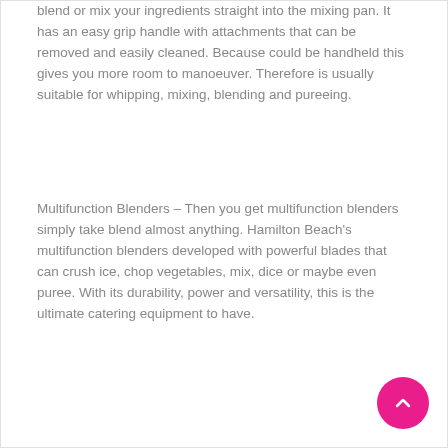blend or mix your ingredients straight into the mixing pan. It has an easy grip handle with attachments that can be removed and easily cleaned. Because could be handheld this gives you more room to manoeuver. Therefore is usually suitable for whipping, mixing, blending and pureeing.
Multifunction Blenders – Then you get multifunction blenders simply take blend almost anything. Hamilton Beach's multifunction blenders developed with powerful blades that can crush ice, chop vegetables, mix, dice or maybe even puree. With its durability, power and versatility, this is the ultimate catering equipment to have.